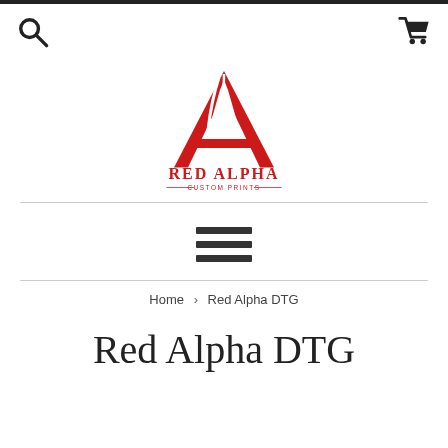[Figure (logo): Red Alpha Custom Prints logo — a red geometric letter A with stylized lines, with text RED ALPHA and CUSTOM PRINTS below]
[Figure (infographic): Hamburger menu icon — three horizontal dark bars]
Home › Red Alpha DTG
Red Alpha DTG